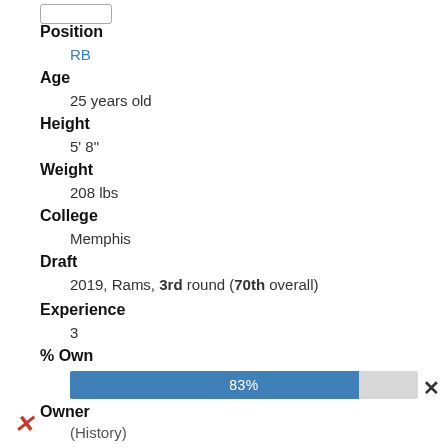Position
RB
Age
25 years old
Height
5' 8"
Weight
208 lbs
College
Memphis
Draft
2019, Rams, 3rd round (70th overall)
Experience
3
% Own
[Figure (bar-chart): % Own]
Owner
(History)
News
Darrell Henderson Fantasy News
Action